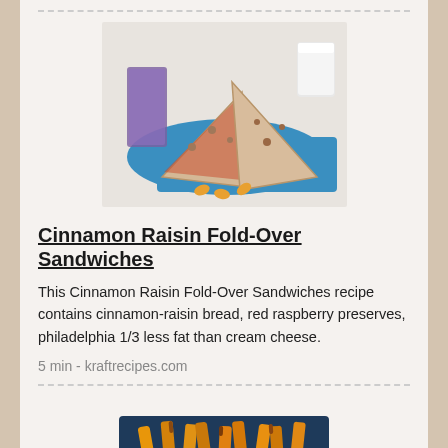[Figure (photo): Photo of Cinnamon Raisin Fold-Over Sandwiches cut into triangles on a blue napkin with cheese crackers, with a glass of milk in the background]
Cinnamon Raisin Fold-Over Sandwiches
This Cinnamon Raisin Fold-Over Sandwiches recipe contains cinnamon-raisin bread, red raspberry preserves, philadelphia 1/3 less fat than cream cheese.
5 min - kraftrecipes.com
[Figure (photo): Photo of roasted or baked vegetable fries on a dark blue plate]